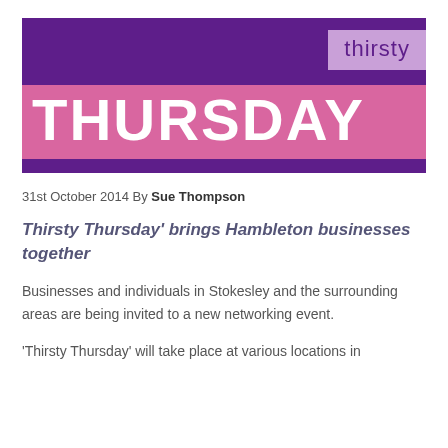[Figure (logo): Thirsty Thursday logo — dark purple background with 'thirsty' in light purple box top-right and 'THURSDAY' in large white bold text on pink bar]
31st October 2014 By Sue Thompson
Thirsty Thursday' brings Hambleton businesses together
Businesses and individuals in Stokesley and the surrounding areas are being invited to a new networking event.
'Thirsty Thursday' will take place at various locations in